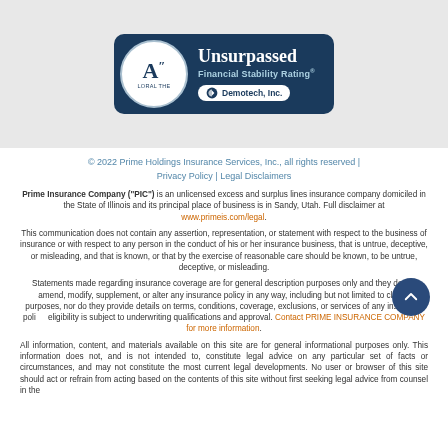[Figure (logo): Demotech A'' Unsurpassed Financial Stability Rating badge with circular logo and Demotech Inc. branding]
© 2022 Prime Holdings Insurance Services, Inc., all rights reserved | Privacy Policy | Legal Disclaimers
Prime Insurance Company ("PIC") is an unlicensed excess and surplus lines insurance company domiciled in the State of Illinois and its principal place of business is in Sandy, Utah. Full disclaimer at www.primeis.com/legal.
This communication does not contain any assertion, representation, or statement with respect to the business of insurance or with respect to any person in the conduct of his or her insurance business, that is untrue, deceptive, or misleading, and that is known, or that by the exercise of reasonable care should be known, to be untrue, deceptive, or misleading.
Statements made regarding insurance coverage are for general description purposes only and they do not amend, modify, supplement, or alter any insurance policy in any way, including but not limited to claims purposes, nor do they provide details on terms, conditions, coverage, exclusions, or services of any insurance policy. eligibility is subject to underwriting qualifications and approval. Contact PRIME INSURANCE COMPANY for more information.
All information, content, and materials available on this site are for general informational purposes only. This information does not, and is not intended to, constitute legal advice on any particular set of facts or circumstances, and may not constitute the most current legal developments. No user or browser of this site should act or refrain from acting based on the contents of this site without first seeking legal advice from counsel in the